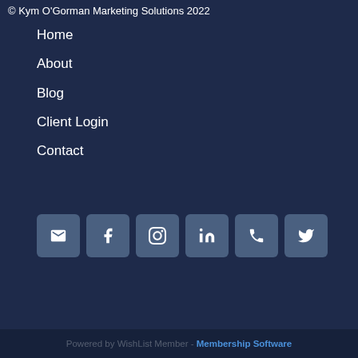© Kym O'Gorman Marketing Solutions 2022
Home
About
Blog
Client Login
Contact
[Figure (infographic): Row of 6 social media/contact icon buttons: email, Facebook, Instagram, LinkedIn, phone, Twitter — all white icons on dark blue-grey rounded square backgrounds]
Powered by WishList Member - Membership Software